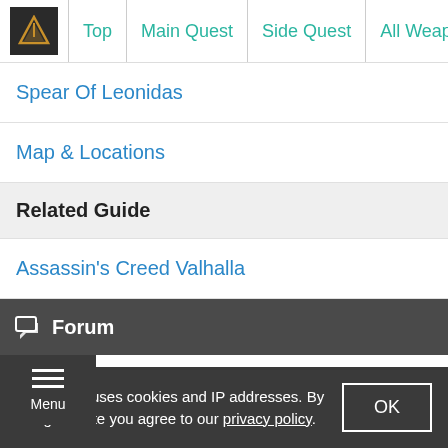Top | Main Quest | Side Quest | All Weapon Tier | All A
Spear Of Leonidas
Map & Locations
Related Guide
Assassin's Creed Valhalla
Forum
Player Discussion
GameWith uses cookies and IP addresses. By using our site you agree to our privacy policy.